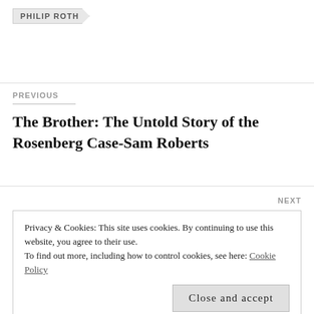PHILIP ROTH
PREVIOUS
The Brother: The Untold Story of the Rosenberg Case-Sam Roberts
NEXT
Privacy & Cookies: This site uses cookies. By continuing to use this website, you agree to their use.
To find out more, including how to control cookies, see here: Cookie Policy